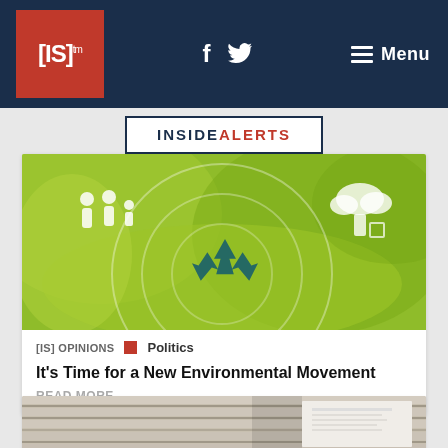[IS]™ — f 🐦 — ☰ Menu
INSIDEALERTS
[Figure (photo): Green nature background with recycling symbol icon and white silhouette icons of family and tree]
[IS] OPINIONS  ■  Politics
It's Time for a New Environmental Movement
READ MORE
[Figure (photo): Partially visible image of stacked newspapers or printed materials at the bottom of the page]